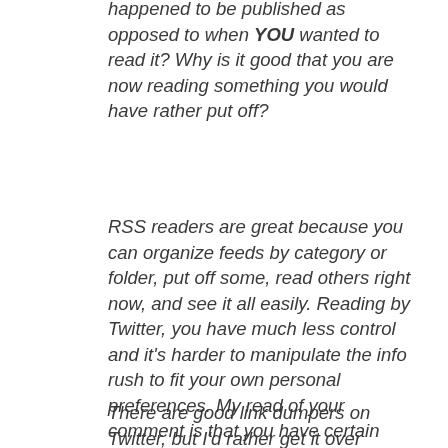happened to be published as opposed to when YOU wanted to read it? Why is it good that you are now reading something you would have rather put off?
RSS readers are great because you can organize feeds by category or folder, put off some, read others right now, and see it all easily. Reading by Twitter, you have much less control and it's harder to manipulate the info rush to fit your own personal preferences. My read of your comment is that you have certain preferences, and you like Twitter because it forces you to ignore those preferences (read something you would have put off). Is this right?
There are good link dumpers on Twitter, but I'd rather get it over